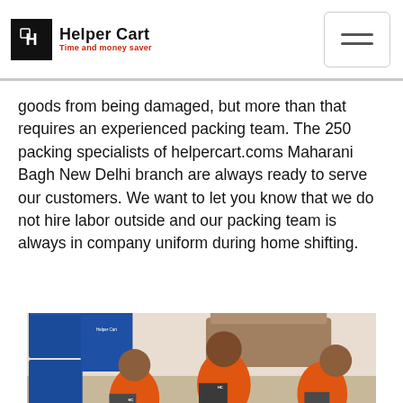Helper Cart — Time and money saver
goods from being damaged, but more than that requires an experienced packing team. The 250 packing specialists of helpercart.coms Maharani Bagh New Delhi branch are always ready to serve our customers. We want to let you know that we do not hire labor outside and our packing team is always in company uniform during home shifting.
[Figure (photo): Three workers in red Helper Cart uniforms sitting on the floor packing household items, with blue Helper Cart branded boxes visible in the background.]